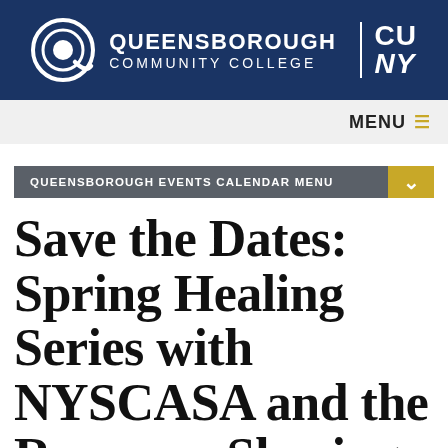[Figure (logo): Queensborough Community College / CUNY logo with circular Q icon on dark navy background header bar]
MENU ≡
QUEENSBOROUGH EVENTS CALENDAR MENU
Save the Dates: Spring Healing Series with NYSCASA and the Resource Sharing